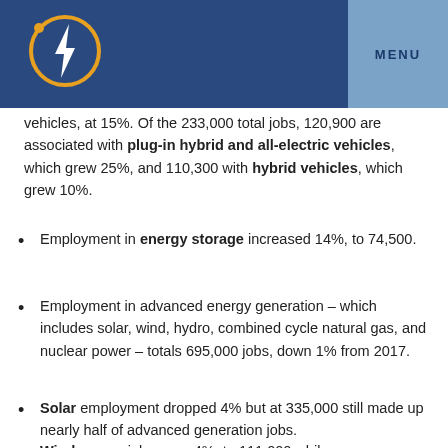MENU
vehicles, at 15%. Of the 233,000 total jobs, 120,900 are associated with plug-in hybrid and all-electric vehicles, which grew 25%, and 110,300 with hybrid vehicles, which grew 10%.
Employment in energy storage increased 14%, to 74,500.
Employment in advanced energy generation – which includes solar, wind, hydro, combined cycle natural gas, and nuclear power – totals 695,000 jobs, down 1% from 2017.
Solar employment dropped 4% but at 335,000 still made up nearly half of advanced generation jobs.
Wind energy jobs grew 4%, to 111,000 while